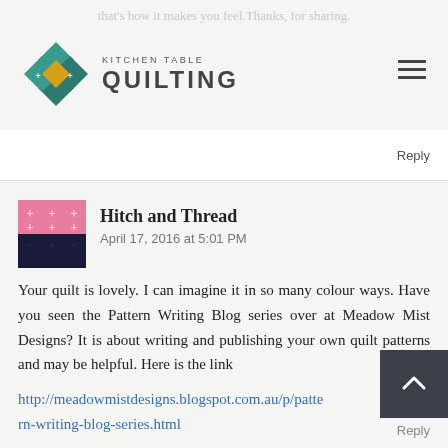Kitchen Table Quilting
that's how it makes you feel.Thanks, for sharing.
Reply
Hitch and Thread
April 17, 2016 at 5:01 PM
Your quilt is lovely. I can imagine it in so many colour ways. Have you seen the Pattern Writing Blog series over at Meadow Mist Designs? It is about writing and publishing your own quilt patterns and may be helpful. Here is the link
http://meadowmistdesigns.blogspot.com.au/p/pattern-writing-blog-series.html
Reply